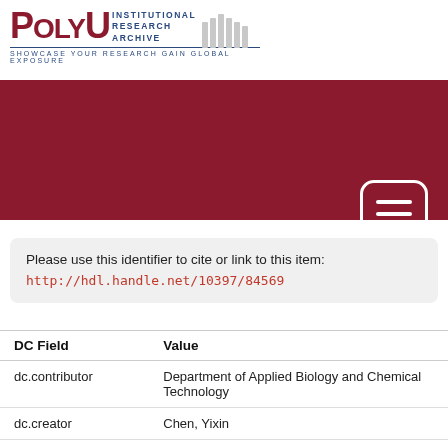[Figure (logo): PolyU Institutional Research Archive logo with tagline 'Showcase Your Research Gain Global Exposure']
[Figure (screenshot): Dark red/maroon navigation banner with a white hamburger menu icon in the top right]
Please use this identifier to cite or link to this item:
http://hdl.handle.net/10397/84569
| DC Field | Value |
| --- | --- |
| dc.contributor | Department of Applied Biology and Chemical Technology |
| dc.creator | Chen, Yixin |
| dc.identifier.uri | https://theses.lib.polyu.edu.hk/handle/200/... |
| dc.language.iso | English |